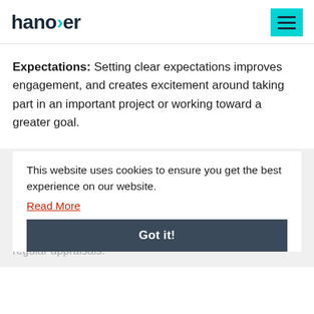hanover
Expectations: Setting clear expectations improves engagement, and creates excitement around taking part in an important project or working toward a greater goal.
Support: Supportive leadership and an environment where co-workers supporting each other is celebrated are key elements of a productive workplace culture. Investing in things like online courses, 'away days' and industry events help support employee development in addition to regular appraisals.
This website uses cookies to ensure you get the best experience on our website. Read More Got it!